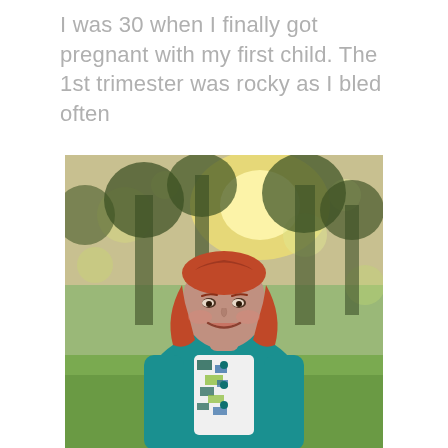I was 30 when I finally got pregnant with my first child. The 1st trimester was rocky as I bled often
[Figure (photo): A woman with red/auburn hair smiling outdoors in a park setting, wearing a teal cardigan over a patterned top, with blurred trees and green grass in the background and warm sunlight.]